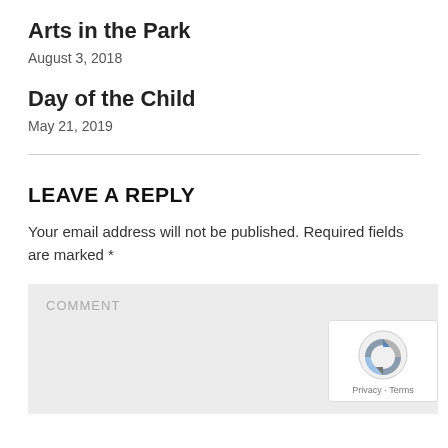Arts in the Park
August 3, 2018
Day of the Child
May 21, 2019
LEAVE A REPLY
Your email address will not be published. Required fields are marked *
COMMENT